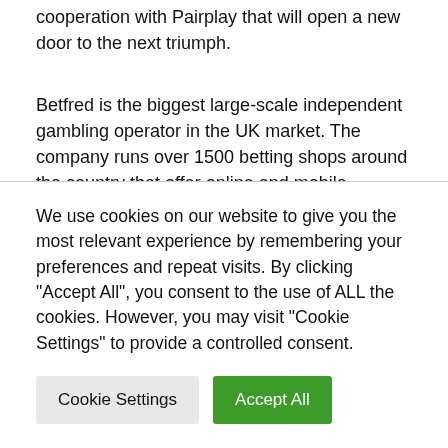cooperation with Pairplay that will open a new door to the next triumph.
Betfred is the biggest large-scale independent gambling operator in the UK market. The company runs over 1500 betting shops around the country that offer online and mobile operations.
Recently Pairplay has entered into a content distribution partnership deal with Malta-based iGaming studio Spinomenal before this contract with Betfred. According to the term of this recent deal, the game development unit will integrate over 100 HTML5 titles for Paiplay's Fusion platform. These games will be facilitated with exclusive graphics, math models based on
We use cookies on our website to give you the most relevant experience by remembering your preferences and repeat visits. By clicking "Accept All", you consent to the use of ALL the cookies. However, you may visit "Cookie Settings" to provide a controlled consent.